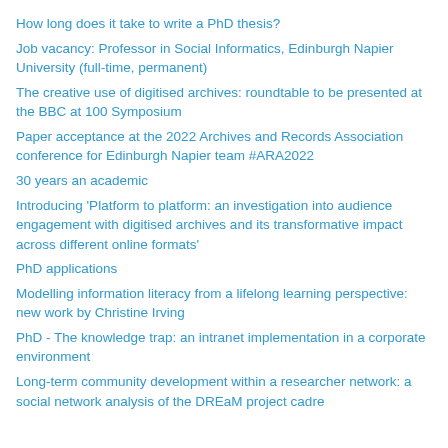How long does it take to write a PhD thesis?
Job vacancy: Professor in Social Informatics, Edinburgh Napier University (full-time, permanent)
The creative use of digitised archives: roundtable to be presented at the BBC at 100 Symposium
Paper acceptance at the 2022 Archives and Records Association conference for Edinburgh Napier team #ARA2022
30 years an academic
Introducing 'Platform to platform: an investigation into audience engagement with digitised archives and its transformative impact across different online formats'
PhD applications
Modelling information literacy from a lifelong learning perspective: new work by Christine Irving
PhD - The knowledge trap: an intranet implementation in a corporate environment
Long-term community development within a researcher network: a social network analysis of the DREaM project cadre